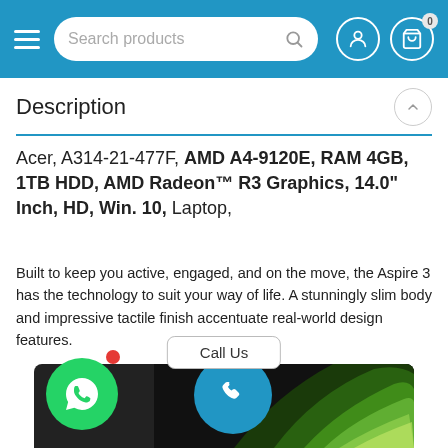[Figure (screenshot): E-commerce website navigation bar with hamburger menu, search bar, user icon, and cart icon with badge showing 0]
Description
Acer, A314-21-477F, AMD A4-9120E, RAM 4GB, 1TB HDD, AMD Radeon™ R3 Graphics, 14.0" Inch, HD, Win. 10, Laptop,
Built to keep you active, engaged, and on the move, the Aspire 3 has the technology to suit your way of life. A stunningly slim body and impressive tactile finish accentuate real-world design features.
[Figure (screenshot): Call Us button and product image showing an Acer laptop with colorful swirl design on screen, with WhatsApp and phone call floating action buttons]